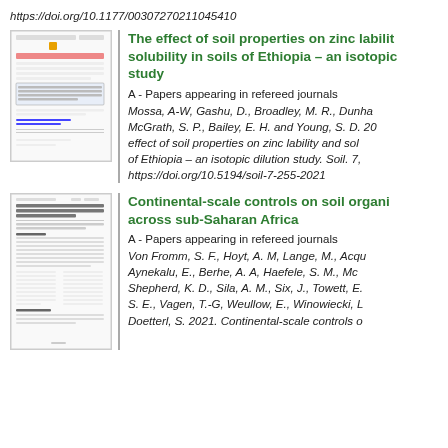https://doi.org/10.1177/00307270211045410
The effect of soil properties on zinc lability and solubility in soils of Ethiopia – an isotopic dilution study
A - Papers appearing in refereed journals
Mossa, A-W, Gashu, D., Broadley, M. R., Dunha... McGrath, S. P., Bailey, E. H. and Young, S. D. 20... effect of soil properties on zinc lability and sol... of Ethiopia – an isotopic dilution study. Soil. 7, ... https://doi.org/10.5194/soil-7-255-2021
Continental-scale controls on soil organic carbon across sub-Saharan Africa
A - Papers appearing in refereed journals
Von Fromm, S. F., Hoyt, A. M, Lange, M., Acqu... Aynekalu, E., Berhe, A. A, Haefele, S. M., Mc... Shepherd, K. D., Sila, A. M., Six, J., Towett, E. ... S. E., Vagen, T.-G, Weullow, E., Winowiecki, L... Doetterl, S. 2021. Continental-scale controls o...